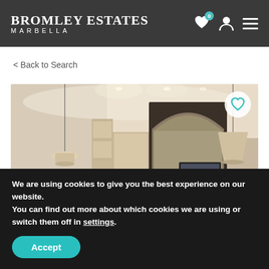BROMLEY ESTATES MARBELLA
< Back to Search
[Figure (photo): Interior render of a modern luxury apartment living room with arched floor-to-ceiling windows, pendant lighting, open kitchen and built-in shelving. A TV is visible through the glass partition. A circular favorite/heart button overlay is in the top-right corner.]
We are using cookies to give you the best experience on our website.
You can find out more about which cookies we are using or switch them off in settings.
Accept